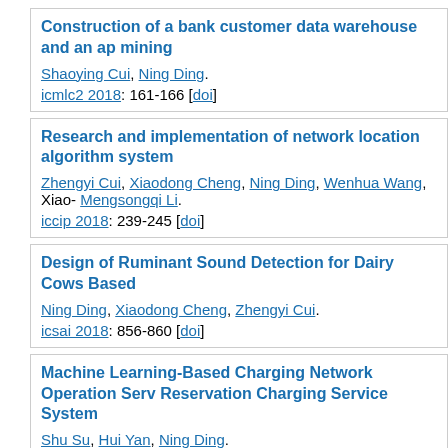Construction of a bank customer data warehouse and an ap mining
Shaoying Cui, Ning Ding.
icmlc2 2018: 161-166 [doi]
Research and implementation of network location algorithm system
Zhengyi Cui, Xiaodong Cheng, Ning Ding, Wenhua Wang, Xiao- Mengsongqi Li.
iccip 2018: 239-245 [doi]
Design of Ruminant Sound Detection for Dairy Cows Based
Ning Ding, Xiaodong Cheng, Zhengyi Cui.
icsai 2018: 856-860 [doi]
Machine Learning-Based Charging Network Operation Serv Reservation Charging Service System
Shu Su, Hui Yan, Ning Ding.
spml 2018: 1-5 [doi]